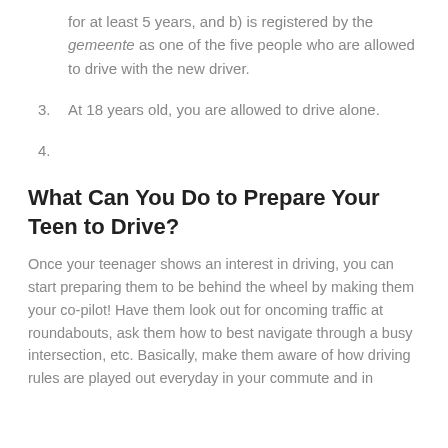for at least 5 years, and b) is registered by the gemeente as one of the five people who are allowed to drive with the new driver.
3. At 18 years old, you are allowed to drive alone.
4.
What Can You Do to Prepare Your Teen to Drive?
Once your teenager shows an interest in driving, you can start preparing them to be behind the wheel by making them your co-pilot! Have them look out for oncoming traffic at roundabouts, ask them how to best navigate through a busy intersection, etc. Basically, make them aware of how driving rules are played out everyday in your commute and in